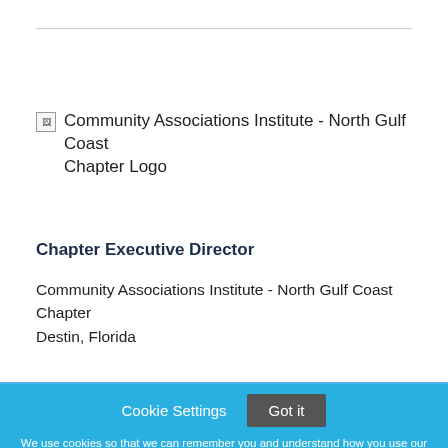[Figure (logo): Community Associations Institute - North Gulf Coast Chapter Logo (broken image placeholder with alt text)]
Chapter Executive Director
Community Associations Institute - North Gulf Coast Chapter
Destin, Florida
Cookie Settings   Got it
We use cookies so that we can remember you and understand how you use our site. If you do not agree with our use of cookies, please change the current settings found in our Cookie Policy. Otherwise, you agree to the use of the cookies as they are currently set.